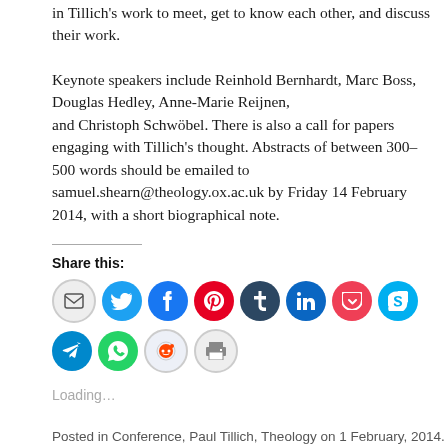in Tillich's work to meet, get to know each other, and discuss their work.
Keynote speakers include Reinhold Bernhardt, Marc Boss, Douglas Hedley, Anne-Marie Reijnen, and Christoph Schwöbel. There is also a call for papers engaging with Tillich's thought. Abstracts of between 300–500 words should be emailed to samuel.shearn@theology.ox.ac.uk by Friday 14 February 2014, with a short biographical note.
Share this:
[Figure (infographic): Row of social sharing icon circles: email (grey), Twitter (blue), Facebook (blue), Pinterest (red), Tumblr (dark blue), LinkedIn (blue), Pocket (red), Skype (light blue), Telegram (blue), WhatsApp (green), Reddit (grey), Print (grey)]
Loading…
Posted in Conference, Paul Tillich, Theology on 1 February, 2014.